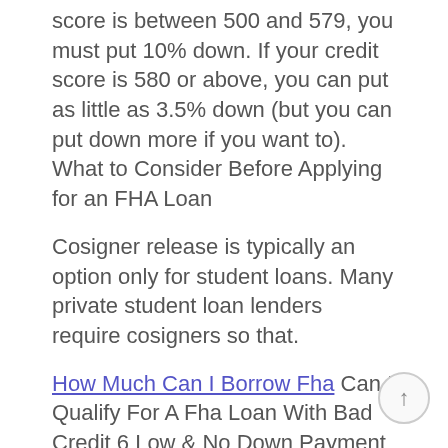score is between 500 and 579, you must put 10% down. If your credit score is 580 or above, you can put as little as 3.5% down (but you can put down more if you want to). What to Consider Before Applying for an FHA Loan
Cosigner release is typically an option only for student loans. Many private student loan lenders require cosigners so that.
How Much Can I Borrow Fha Can I Qualify For A Fha Loan With Bad Credit 6 Low & No Down Payment Mortgage Loans (For Bad Credit) – Apply for a federal housing administration (fha) loan. Probably the most well-known type of government-backed mortgage, an FHA loan is one that has been secured by the Federal Housing Administration, reducing the risk faced by the mortgage lender. The added security encourages lenders to lower their credit score and down payment